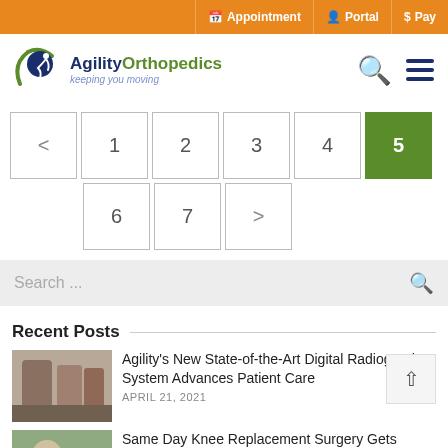Appointment | Portal | $ Pay
[Figure (logo): Agility Orthopedics logo with circular figure and tagline 'keeping you moving']
Pagination: < 1 2 3 4 5 (active) then 6 7 >
Search ...
Recent Posts
Agility's New State-of-the-Art Digital Radiography System Advances Patient Care
APRIL 21, 2021
Same Day Knee Replacement Surgery Gets Patient Back to Golf